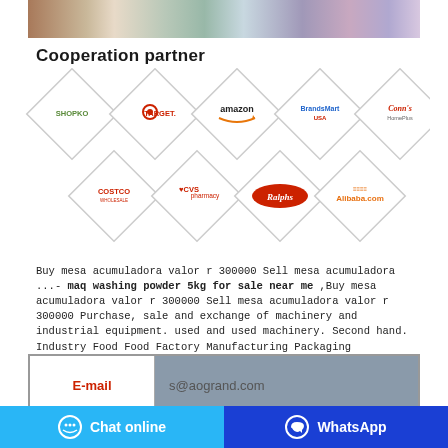[Figure (photo): Top banner image showing supermarket/retail products]
Cooperation partner
[Figure (infographic): Diamond-shaped partner logos: Shopko, Target, Amazon, BrandsMart USA, Conn's HomePlus, Costco, CVS pharmacy, Ralphs, Alibaba.com]
Buy mesa acumuladora valor r 300000 Sell mesa acumuladora ...- maq washing powder 5kg for sale near me ,Buy mesa acumuladora valor r 300000 Sell mesa acumuladora valor r 300000 Purchase, sale and exchange of machinery and industrial equipment. used and used machinery. Second hand. Industry Food Food Factory Manufacturing Packaging Packersambridge Food Home - Cambridge FoodGeneral Inquiries. TEL: 087 376 3500. WHATSAPP: +27 81 570 6628. INFO@CAMBRIDGEFOODO.ZA
| E-mail |  |
| --- | --- |
| E-mail | s@aogrand.com |
Chat online | WhatsApp